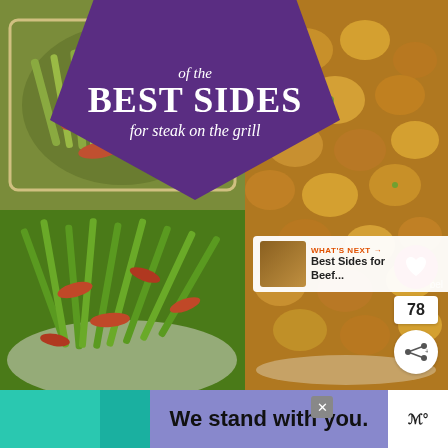[Figure (photo): Collage of food images: top-left shows asparagus dish, top-right shows roasted potatoes, bottom-left shows green beans with bacon]
of the BEST SIDES for steak on the grill
78
WHAT'S NEXT → Best Sides for Beef...
We stand with you.